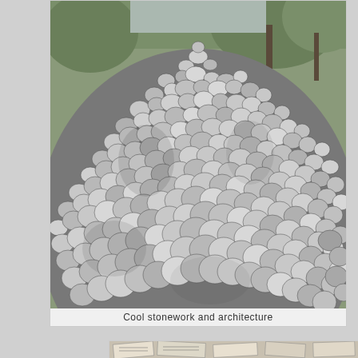[Figure (photo): Close-up photograph of a large rounded stone/pebble mosaic structure resembling a dome or sculpture, with trees visible in the background. The surface is completely covered in smooth river pebbles of various sizes arranged in an overlapping pattern.]
Cool stonework and architecture
[Figure (photo): Partial view of what appears to be architectural drawings or blueprints laid out on a surface, showing geometric shapes and plans.]